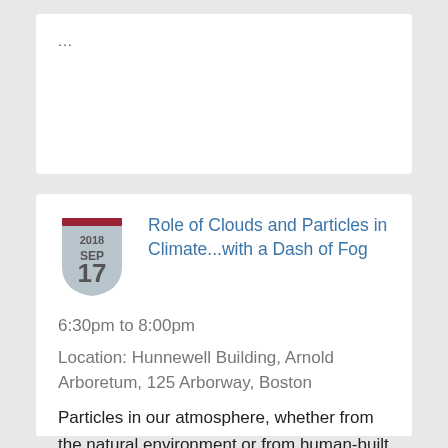...
[Figure (other): Shield/badge calendar icon showing 2018 SEP 17 with a dark red top bar and light grey shield shape]
Role of Clouds and Particles in Climate...with a Dash of Fog
6:30pm to 8:00pm
Location: Hunnewell Building, Arnold Arboretum, 125 Arborway, Boston
Particles in our atmosphere, whether from the natural environment or from human-built engines, affect climate in ways we don't yet fully understand. MIT